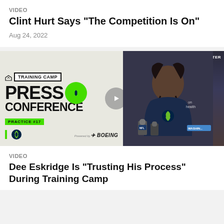VIDEO
Clint Hurt Says "The Competition Is On"
Aug 24, 2022
[Figure (photo): Split image: left side shows Seattle Seahawks Training Camp Press Conference graphic with green circle logo and practice #17 badge, powered by Boeing; right side shows a Seahawks player at a press conference podium with NFL microphones, Athletic Center signage visible in background.]
VIDEO
Dee Eskridge Is "Trusting His Process" During Training Camp